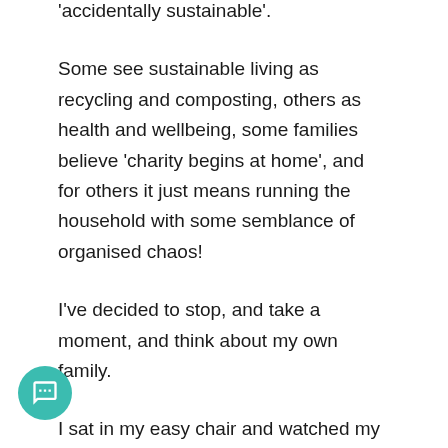'accidentally sustainable'.
Some see sustainable living as recycling and composting, others as health and wellbeing, some families believe 'charity begins at home', and for others it just means running the household with some semblance of organised chaos!
I've decided to stop, and take a moment, and think about my own family.
I sat in my easy chair and watched my son and his 3 friends jump and laugh and dance, and act out the …y and orchestrations of 'Peter And The Wolf' spinning on our turntable.